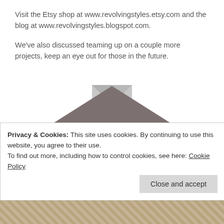Visit the Etsy shop at www.revolvingstyles.etsy.com and the blog at www.revolvingstyles.blogspot.com.
We've also discussed teaming up on a couple more projects, keep an eye out for those in the future.
[Figure (logo): Revolving Styles Vintage logo — diamond shape in grey with light teal text reading REVOLVING STYLES VINTAGE, with decorative silver/grey corner accents]
Privacy & Cookies: This site uses cookies. By continuing to use this website, you agree to their use.
To find out more, including how to control cookies, see here: Cookie Policy
Close and accept